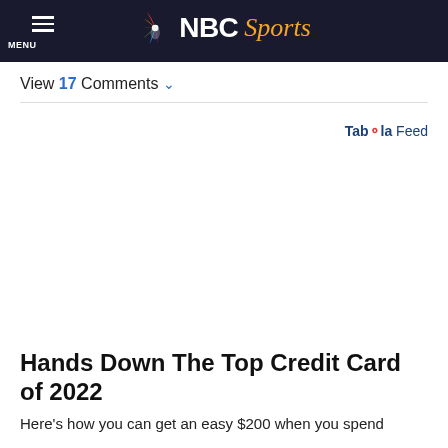[Figure (logo): NBC Sports logo with peacock icon on dark navy header bar, with hamburger menu icon and MENU label on the left]
View 17 Comments ▼
Taboola Feed
Hands Down The Top Credit Card of 2022
Here's how you can get an easy $200 when you spend